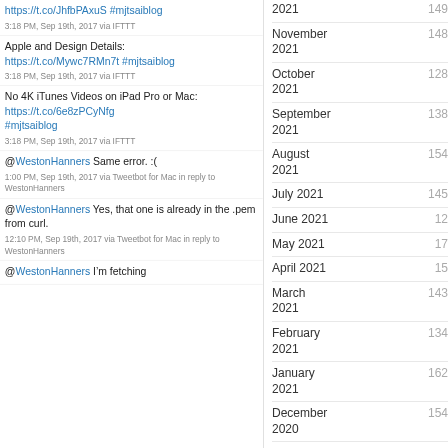https://t.co/JhfbPAxuS #mjtsaiblog
3:18 PM, Sep 19th, 2017 via IFTTT
Apple and Design Details: https://t.co/Mywc7RMn7t #mjtsaiblog
3:18 PM, Sep 19th, 2017 via IFTTT
No 4K iTunes Videos on iPad Pro or Mac: https://t.co/6e8zPCyNfg #mjtsaiblog
3:18 PM, Sep 19th, 2017 via IFTTT
@WestonHanners Same error. :(
1:00 PM, Sep 19th, 2017 via Tweetbot for Mac in reply to WestonHanners
@WestonHanners Yes, that one is already in the .pem from curl.
12:10 PM, Sep 19th, 2017 via Tweetbot for Mac in reply to WestonHanners
@WestonHanners I’m fetching
November 2021  148
October 2021  128
September 2021  138
August 2021  154
July 2021  145
June 2021  12
May 2021  17
April 2021  15
March 2021  143
February 2021  134
January 2021  162
December 2020  154